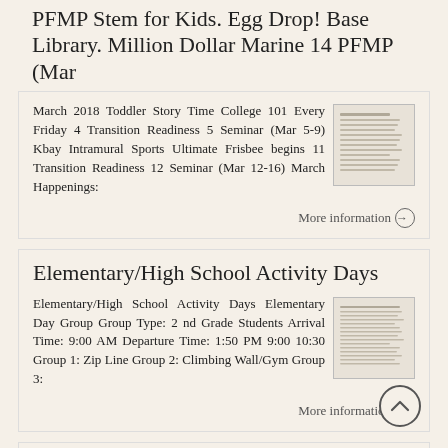PFMP Stem for Kids. Egg Drop! Base Library. Million Dollar Marine 14 PFMP (Mar
March 2018 Toddler Story Time College 101 Every Friday 4 Transition Readiness 5 Seminar (Mar 5-9) Kbay Intramural Sports Ultimate Frisbee begins 11 Transition Readiness 12 Seminar (Mar 12-16) March Happenings:
[Figure (other): Thumbnail image of a document page with text lines]
More information →
Elementary/High School Activity Days
Elementary/High School Activity Days Elementary Day Group Group Type: 2 nd Grade Students Arrival Time: 9:00 AM Departure Time: 1:50 PM 9:00 10:30 Group 1: Zip Line Group 2: Climbing Wall/Gym Group 3:
[Figure (other): Thumbnail image of a document page with text lines]
More information →
Happy Endings, Fresh Beginnings